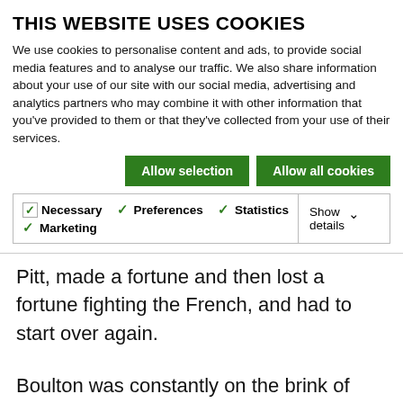THIS WEBSITE USES COOKIES
We use cookies to personalise content and ads, to provide social media features and to analyse our traffic. We also share information about your use of our site with our social media, advertising and analytics partners who may combine it with other information that you've provided to them or that they've collected from your use of their services.
Allow selection | Allow all cookies
Necessary  Preferences  Statistics  Marketing  Show details
was almost forced to emigrate before his fortunes turned.
Pitt, made a fortune and then lost a fortune fighting the French, and had to start over again.
Boulton was constantly on the brink of bankruptcy - and when the millers burned down his great factory, Albion Mill, he had to find a way to pick up the pieces.